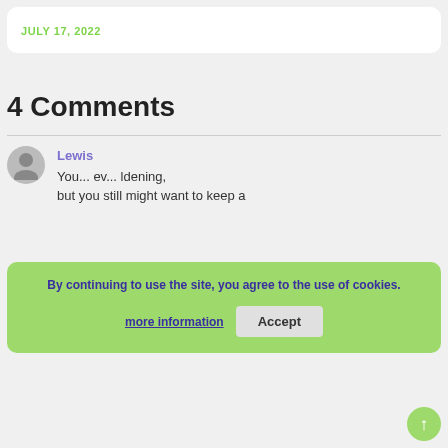JULY 17, 2022
4 Comments
Lewis
By continuing to use the site, you agree to the use of cookies.
more information
Accept
You... ev... ldening, but you still might want to keep a